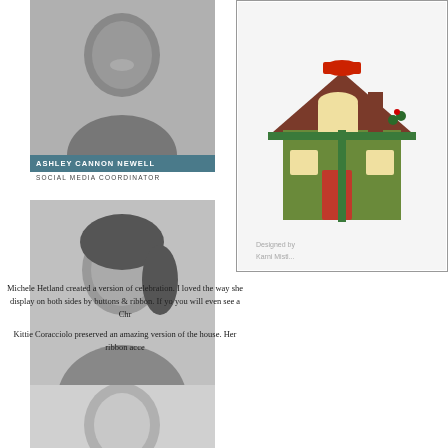[Figure (photo): Black and white headshot of Ashley Cannon Newell, a woman smiling at the camera]
ASHLEY CANNON NEWELL
SOCIAL MEDIA COORDINATOR
[Figure (photo): Black and white headshot of Betsy Veldman, a woman with dark hair smiling]
BETSY VELDMAN
DESIGN TEAM CONTRIBUTOR
PRODUCT DESIGNER
[Figure (photo): Black and white headshot of a third woman, partially visible at bottom]
[Figure (photo): Color photo of a decorative Christmas house craft/paper model with red ribbon and holiday decorations, with a border frame]
Michele Hetland created a version of celebration.  I loved the way she display on both sides by buttons & ribbon.  If yo you will even see a Chr
Kittie Coracciolo preserved an amazing version of the house.  Her ribbon acce